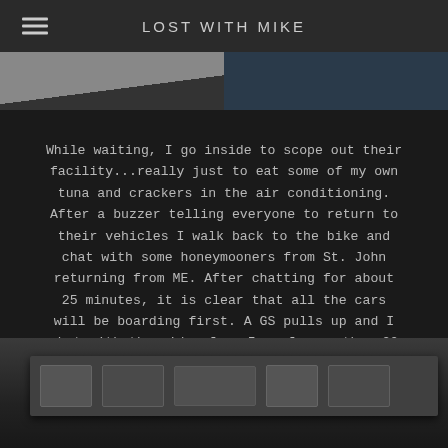LOST WITH MIKE
[Figure (photo): Top portion of an outdoor photo showing pavement/ground, partially cropped at top of page]
While waiting, I go inside to scope out their facility...really just to eat some of my own tuna and crackers in the air conditioning. After a buzzer telling everyone to return to their vehicles I walk back to the bike and chat with some honeymooners from St. John returning from ME. After chatting for about 25 minutes, it is clear that all the cars will be boarding first. A GS pulls up and I chat with the rider from Iowa for another 20 minutes until they finally let us on board.
[Figure (photo): Bottom photo showing what appears to be motorcycle luggage or cases on a ferry or vehicle deck, dark interior setting]